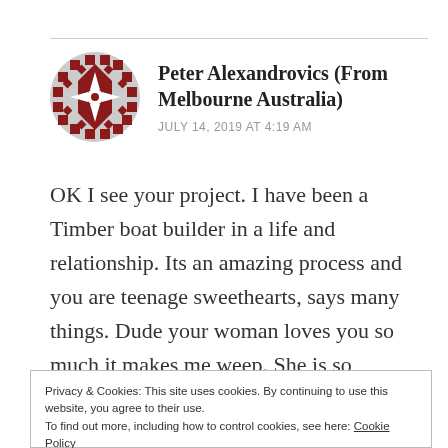[Figure (illustration): Red and white decorative geometric/floral pattern avatar icon for user Peter Alexandrovics]
Peter Alexandrovics (From Melbourne Australia)
JULY 14, 2019 AT 4:19 AM
OK I see your project. I have been a Timber boat builder in a life and relationship. Its an amazing process and you are teenage sweethearts, says many things. Dude your woman loves you so much it makes me weep. She is so tolerant, dedicated, and believes in you so much that I cannot hold back
Privacy & Cookies: This site uses cookies. By continuing to use this website, you agree to their use.
To find out more, including how to control cookies, see here: Cookie Policy
Close and accept
your project works, and continues to work. I'm so